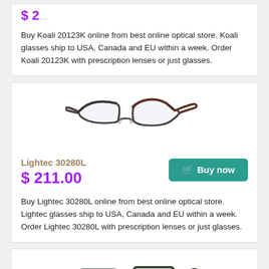$ 2[cut off — top of page]
Buy Koali 20123K online from best online optical store. Koali glasses ship to USA, Canada and EU within a week. Order Koali 20123K with prescription lenses or just glasses.
[Figure (photo): Product photo of Lightec 30280L eyeglasses — semi-rimless metal frames with dark brown/gunmetal front and tortoise-patterned dark temples, viewed from a three-quarter angle.]
Lightec 30280L
$ 211.00
Buy now
Buy Lightec 30280L online from best online optical store. Lightec glasses ship to USA, Canada and EU within a week. Order Lightec 30280L with prescription lenses or just glasses.
[Figure (photo): Product photo of another eyeglasses model — dark full-rim rectangular metal frames with patterned dark green/tortoise temples, viewed from a three-quarter angle.]